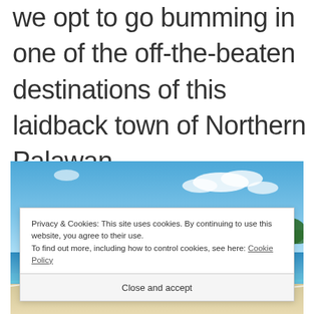we opt to go bumming in one of the off-the-beaten destinations of this laidback town of Northern Palawan.
[Figure (photo): A tropical beach scene with clear blue sky, turquoise water, white sand beach, and palm trees on the right edge.]
Privacy & Cookies: This site uses cookies. By continuing to use this website, you agree to their use. To find out more, including how to control cookies, see here: Cookie Policy
Close and accept